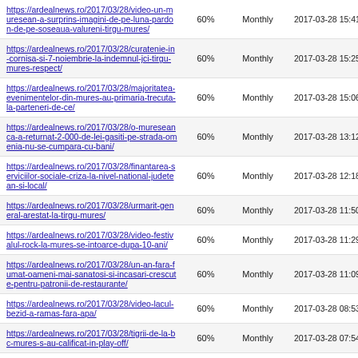| URL | Priority | Change Freq | Last Modified |
| --- | --- | --- | --- |
| https://ardealnews.ro/2017/03/28/video-un-muresean-a-surprins-imagini-de-pe-luna-pardon-de-pe-soseaua-valureni-tirgu-mures/ | 60% | Monthly | 2017-03-28 15:41 |
| https://ardealnews.ro/2017/03/28/curatenie-in-cornisa-si-7-noiembrie-la-indemnul-jci-tirgu-mures-respect/ | 60% | Monthly | 2017-03-28 15:25 |
| https://ardealnews.ro/2017/03/28/majoritatea-evenimentelor-din-mures-au-primaria-trecuta-la-parteneri-de-ce/ | 60% | Monthly | 2017-03-28 15:06 |
| https://ardealnews.ro/2017/03/28/o-mureseanca-a-returnat-2-000-de-lei-gasiti-pe-strada-omenia-nu-se-cumpara-cu-bani/ | 60% | Monthly | 2017-03-28 13:12 |
| https://ardealnews.ro/2017/03/28/finantarea-serviciilor-sociale-criza-la-nivel-national-judetean-si-local/ | 60% | Monthly | 2017-03-28 12:18 |
| https://ardealnews.ro/2017/03/28/urmarit-general-arestat-la-tirgu-mures/ | 60% | Monthly | 2017-03-28 11:50 |
| https://ardealnews.ro/2017/03/28/video-festivalul-rock-la-mures-se-intoarce-dupa-10-ani/ | 60% | Monthly | 2017-03-28 11:29 |
| https://ardealnews.ro/2017/03/28/un-an-fara-fumat-oameni-mai-sanatosi-si-incasari-crescute-pentru-patronii-de-restaurante/ | 60% | Monthly | 2017-03-28 11:09 |
| https://ardealnews.ro/2017/03/28/video-lacul-bezid-a-ramas-fara-apa/ | 60% | Monthly | 2017-03-28 08:53 |
| https://ardealnews.ro/2017/03/28/tigrii-de-la-bc-mures-s-au-calificat-in-play-off/ | 60% | Monthly | 2017-03-28 07:54 |